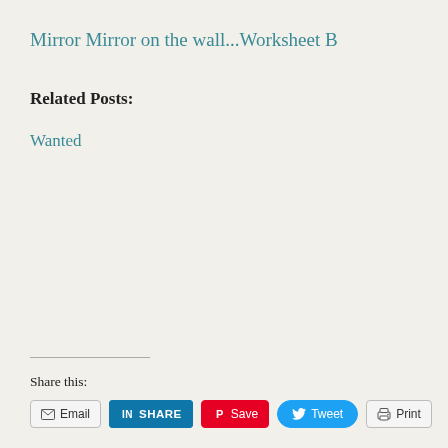Mirror Mirror on the wall...Worksheet B
Related Posts:
Wanted
Share this:
[Figure (other): Social share buttons: Email, LinkedIn SHARE, Pinterest Save, Twitter Tweet, Print]